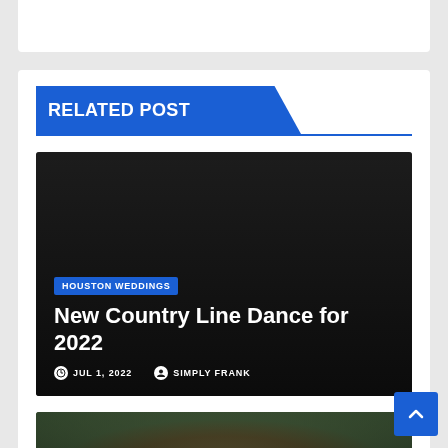RELATED POST
[Figure (photo): Dark article card with overlay showing a blog post titled 'New Country Line Dance for 2022' in the Houston Weddings category, dated JUL 1, 2022, by SIMPLY FRANK]
New Country Line Dance for 2022
HOUSTON WEDDINGS
JUL 1, 2022  SIMPLY FRANK
[Figure (photo): Partial article card showing a latte art photo with Houston Weddings category tag at bottom]
HOUSTON WEDDINGS